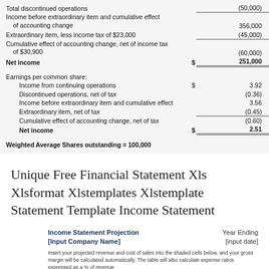| Description | $ | Amount |
| --- | --- | --- |
| Total discontinued operations |  | (50,000) |
| Income before extraordinary item and cumulative effect of accounting change |  | 356,000 |
| Extraordinary item, less income tax of $23,000 |  | (45,000) |
| Cumulative effect of accounting change, net of income tax of $30,900 |  | (60,000) |
| Net income | $ | 251,000 |
| Earnings per common share: |  |  |
| Income from continuing operations | $ | 3.92 |
| Discontinued operations, net of tax |  | (0.36) |
| Income before extraordinary item and cumulative effect |  | 3.56 |
| Extraordinary item, net of tax |  | (0.45) |
| Cumulative effect of accounting change, net of tax |  | (0.60) |
| Net income | $ | 2.51 |
Weighted Average Shares outstanding = 100,000
Unique Free Financial Statement Xls Xlsformat Xlstemplates Xlstemplate Statement Template Income Statement Resume Template Word
Income Statement Projection
[Input Company Name]
Year Ending
[input date]
Insert your projected revenue and cost of sales into the shaded cells below, and your gross margin will be calculated automatically. The table will also calculate expense ratios expressed as a % of revenue.
Revenue ... $0.00 ...